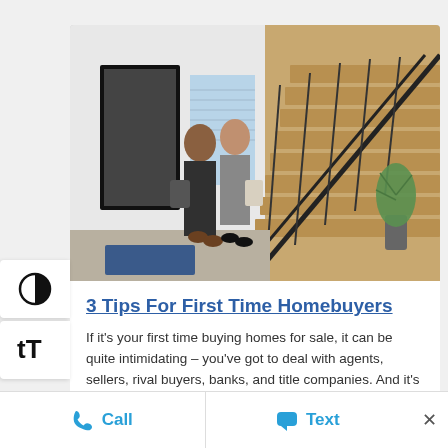[Figure (photo): Two women standing in a modern home entryway with a staircase with wooden steps and black metal railing, a plant, and door in background]
3 Tips For First Time Homebuyers
If it's your first time buying homes for sale, it can be quite intimidating – you've got to deal with agents, sellers, rival buyers, banks, and title companies. And it's not always clear what role each of them … [Read More...]